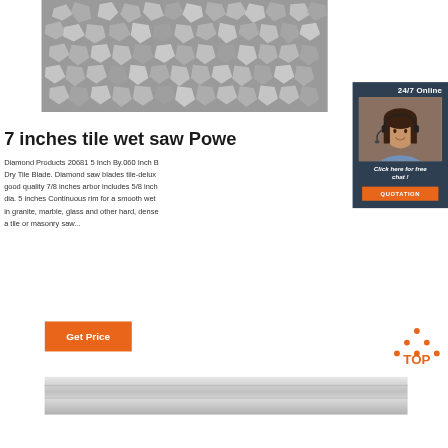[Figure (photo): Top banner showing aggregate gravel stones in grayscale]
7 inches tile wet saw Powe
Diamond Products 20681 5 Inch By.060 Inch B Dry Tile Blade. Diamond saw blades tile-delux good quality 7/8 inches arbor includes 5/8 inch dia. 5 inches Continuous rim for a smooth wet in granite, marble, glass and other hard, dense a tile or masonry saw...
[Figure (photo): Customer service representative with headset, sidebar widget showing 24/7 Online support, Click here for free chat button, and QUOTATION button]
[Figure (other): Orange Get Price button]
[Figure (logo): TOP logo with orange dots forming triangle above the word TOP in orange]
[Figure (photo): Bottom partial image strip showing a metallic/silver surface]